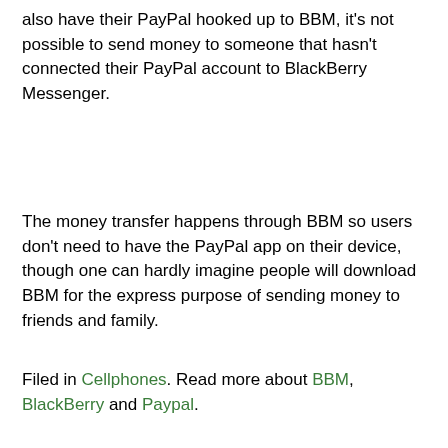also have their PayPal hooked up to BBM, it's not possible to send money to someone that hasn't connected their PayPal account to BlackBerry Messenger.
The money transfer happens through BBM so users don't need to have the PayPal app on their device, though one can hardly imagine people will download BBM for the express purpose of sending money to friends and family.
Filed in Cellphones. Read more about BBM, BlackBerry and Paypal.